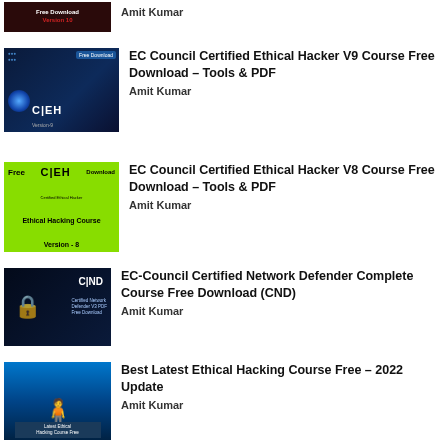[Figure (screenshot): Dark red thumbnail with Free Download and Version 10 text]
Amit Kumar
[Figure (screenshot): CEH V9 dark blue thumbnail with Free Download badge]
EC Council Certified Ethical Hacker V9 Course Free Download – Tools & PDF
Amit Kumar
[Figure (screenshot): CEH V8 green thumbnail with Ethical Hacking Course Version 8]
EC Council Certified Ethical Hacker V8 Course Free Download – Tools & PDF
Amit Kumar
[Figure (screenshot): CND dark blue thumbnail with lock icon and Certified Network Defender text]
EC-Council Certified Network Defender Complete Course Free Download (CND)
Amit Kumar
[Figure (screenshot): Blue hacker silhouette thumbnail with Latest Ethical Hacking Course Free caption]
Best Latest Ethical Hacking Course Free – 2022 Update
Amit Kumar